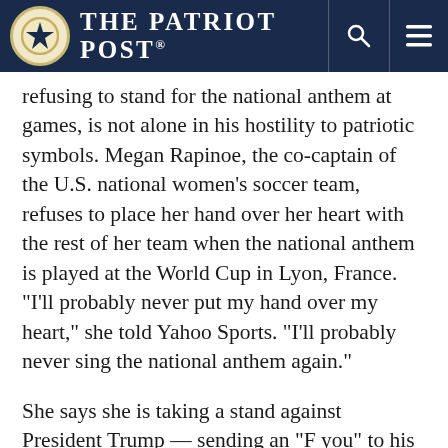The Patriot Post
refusing to stand for the national anthem at games, is not alone in his hostility to patriotic symbols. Megan Rapinoe, the co-captain of the U.S. national women's soccer team, refuses to place her hand over her heart with the rest of her team when the national anthem is played at the World Cup in Lyon, France. “I’ll probably never put my hand over my heart,” she told Yahoo Sports. “I’ll probably never sing the national anthem again.”
She says she is taking a stand against President Trump — sending an “F you” to his administration. But she started protesting the anthem in solidarity with Kaepernick in September 2016, before Trump was elected, when she played for the Seattle Reign in the National Women’s Soccer League.